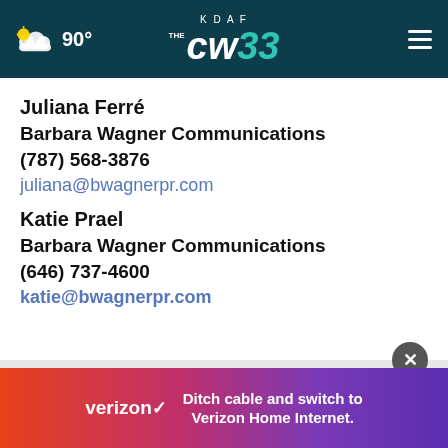KDAF CW 33 | 90°
Juliana Ferré
Barbara Wagner Communications
(787) 568-3876
juliana@bwagnerpr.com
Katie Prael
Barbara Wagner Communications
(646) 737-4600
katie@bwagnerpr.com
[Figure (other): Verizon advertisement banner: 'Ditch cable and switch to Verizon Home Internet.']